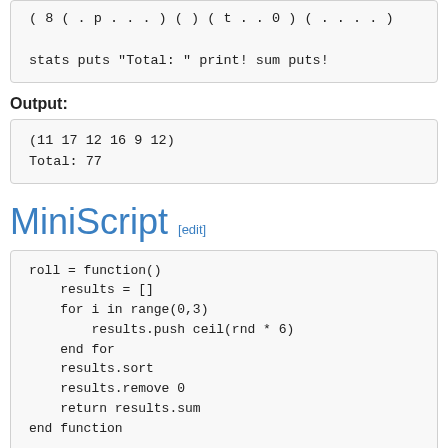( 8 ( . p . . . ) ( ) ( t . . 0 ) ( . . . . )
stats puts "Total: " print! sum puts!
Output:
(11 17 12 16 9 12)
Total: 77
MiniScript [edit]
roll = function()
    results = []
    for i in range(0,3)
        results.push ceil(rnd * 6)
    end for
    results.sort
    results.remove 0
    return results.sum
end function

while true
    attributes = []